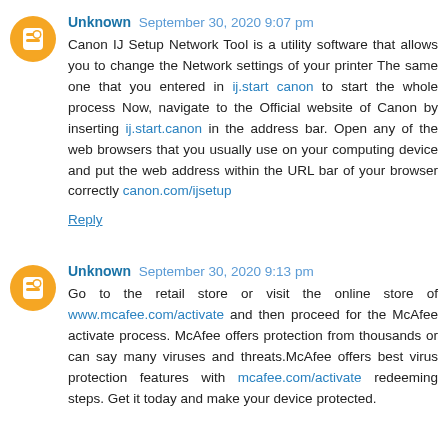Unknown September 30, 2020 9:07 pm
Canon IJ Setup Network Tool is a utility software that allows you to change the Network settings of your printer The same one that you entered in ij.start canon to start the whole process Now, navigate to the Official website of Canon by inserting ij.start.canon in the address bar. Open any of the web browsers that you usually use on your computing device and put the web address within the URL bar of your browser correctly canon.com/ijsetup
Reply
Unknown September 30, 2020 9:13 pm
Go to the retail store or visit the online store of www.mcafee.com/activate and then proceed for the McAfee activate process. McAfee offers protection from thousands or can say many viruses and threats.McAfee offers best virus protection features with mcafee.com/activate redeeming steps. Get it today and make your device protected.